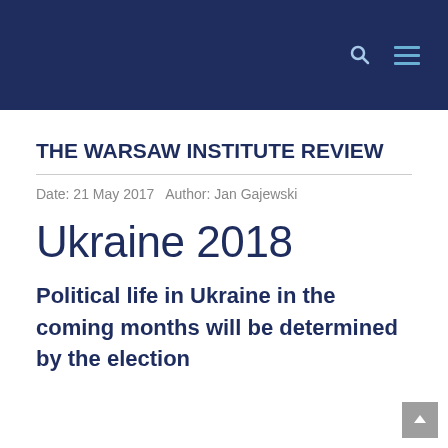THE WARSAW INSTITUTE REVIEW — navigation header with search and menu icons
THE WARSAW INSTITUTE REVIEW
Date: 21 May 2017   Author: Jan Gajewski
Ukraine 2018
Political life in Ukraine in the coming months will be determined by the election